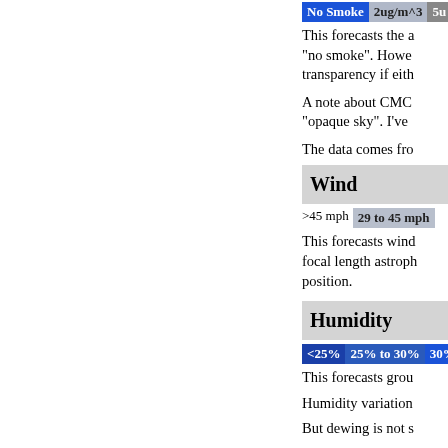[Figure (infographic): Legend row showing 'No Smoke' (blue button), '2ug/m^3' (gray button), '5u' (partially visible button)]
This forecasts the a "no smoke". Howe transparency if eith
A note about CMC "opaque sky". I've
The data comes fro
Wind
[Figure (infographic): Legend row showing '>45 mph' and '29 to 45 mph' buttons]
This forecasts wind focal length astroph position.
Humidity
[Figure (infographic): Legend row showing '<25%' (blue), '25% to 30%' (blue-gray), '30%' (partially visible)]
This forecasts grou
Humidity variation
But dewing is not s